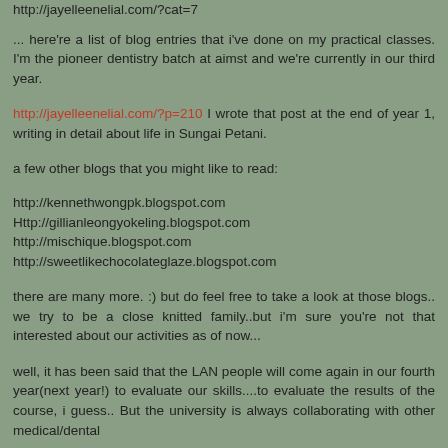http://jayelleenelial.com/?cat=7
... here're a list of blog entries that i've done on my practical classes. I'm the pioneer dentistry batch at aimst and we're currently in our third year.
http://jayelleenelial.com/?p=210 I wrote that post at the end of year 1, writing in detail about life in Sungai Petani.
a few other blogs that you might like to read:
http://kennethwongpk.blogspot.com
Http://gillianleongyokeling.blogspot.com
http://mischique.blogspot.com
http://sweetlikechocolateglaze.blogspot.com
there are many more. :) but do feel free to take a look at those blogs.. we try to be a close knitted family..but i'm sure you're not that interested about our activities as of now...
well, it has been said that the LAN people will come again in our fourth year(next year!) to evaluate our skills....to evaluate the results of the course, i guess.. But the university is always collaborating with other medical/dental